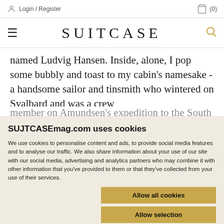Login / Register   (0)
SUITCASE
named Ludvig Hansen. Inside, alone, I pop some bubbly and toast to my cabin’s namesake - a handsome sailor and tinsmith who wintered on Svalbard and was a crew member on Amundsen’s expedition to the South Pole. M…
SUJTCASEmag.com uses cookies
We use cookies to personalise content and ads, to provide social media features and to analyse our traffic. We also share information about your use of our site with our social media, advertising and analytics partners who may combine it with other information that you’ve provided to them or that they’ve collected from your use of their services.
Allow all cookies
Allow selection
Use necessary cookies only
Necessary   Preferences   Statistics   Marketing   Show details